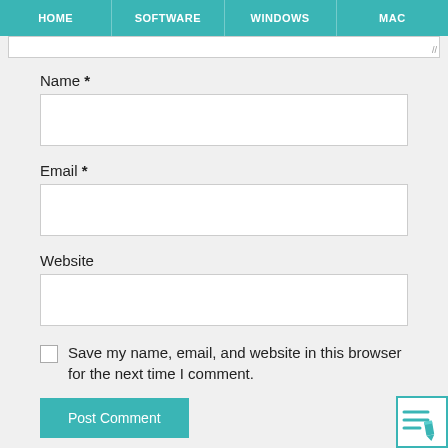HOME | SOFTWARE | WINDOWS | MAC
Name *
Email *
Website
Save my name, email, and website in this browser for the next time I comment.
Post Comment